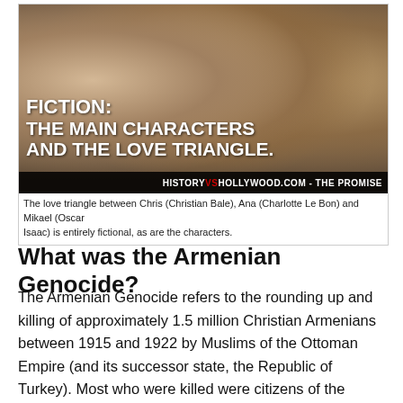[Figure (photo): Movie still from 'The Promise' showing three actors — a bearded man on the left, a woman in the center smiling, and a man on the right — with bold white text overlay reading 'FICTION: THE MAIN CHARACTERS AND THE LOVE TRIANGLE.' and a watermark bar reading 'HISTORYVSHOLLYWOOD.COM - THE PROMISE']
The love triangle between Chris (Christian Bale), Ana (Charlotte Le Bon) and Mikael (Oscar Isaac) is entirely fictional, as are the characters.
What was the Armenian Genocide?
The Armenian Genocide refers to the rounding up and killing of approximately 1.5 million Christian Armenians between 1915 and 1922 by Muslims of the Ottoman Empire (and its successor state, the Republic of Turkey). Most who were killed were citizens of the Ottoman Empire. The genocide is